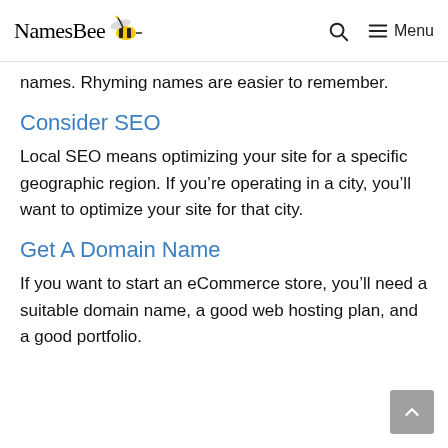NamesBee [logo] | Search | Menu
names. Rhyming names are easier to remember.
Consider SEO
Local SEO means optimizing your site for a specific geographic region. If you're operating in a city, you'll want to optimize your site for that city.
Get A Domain Name
If you want to start an eCommerce store, you'll need a suitable domain name, a good web hosting plan, and a good portfolio.